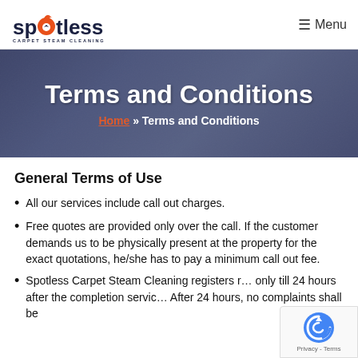Spotless Carpet Steam Cleaning — Menu
Terms and Conditions
Home » Terms and Conditions
General Terms of Use
All our services include call out charges.
Free quotes are provided only over the call. If the customer demands us to be physically present at the property for the exact quotations, he/she has to pay a minimum call out fee.
Spotless Carpet Steam Cleaning registers r… only till 24 hours after the completion servic… After 24 hours, no complaints shall be